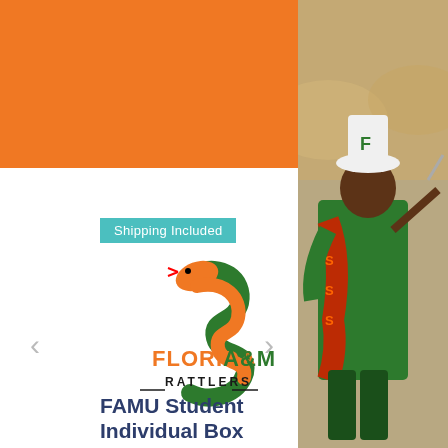[Figure (illustration): Orange banner background top left]
[Figure (photo): Photo of FAMU marching band member in green uniform with orange/red sash and white hat with F letter, on right side of page]
Shipping Included
[Figure (logo): Florida A&M Rattlers logo featuring an orange snake coiled above the text FLORIDA A&M RATTLERS in orange and green]
FAMU Student Individual Box